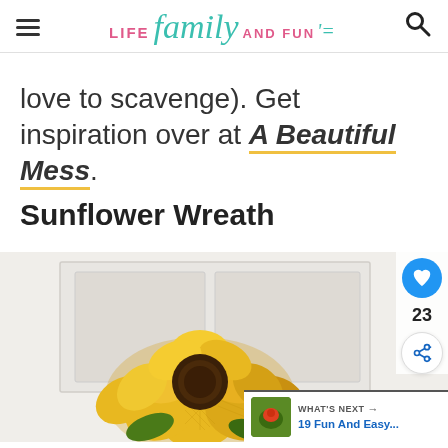LIFE family AND FUN
love to scavenge). Get inspiration over at A Beautiful Mess.
Sunflower Wreath
[Figure (photo): A sunflower wreath made from yellow mesh deco mesh ribbon, photographed against a white door/background. Side panel shows heart button with count 23, share button, and a 'What's Next' bar showing '19 Fun And Easy...']